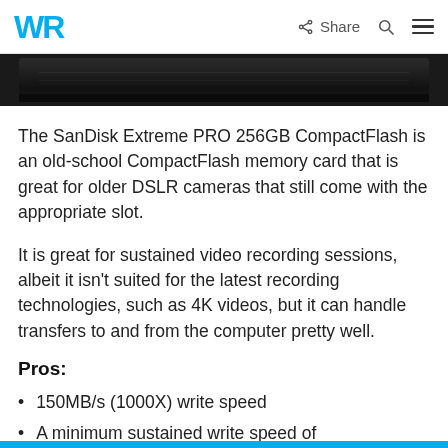WR  Share  Search  Menu
[Figure (photo): Dark/black strip showing partial view of a SanDisk Extreme PRO CompactFlash memory card against a dark background]
The SanDisk Extreme PRO 256GB CompactFlash is an old-school CompactFlash memory card that is great for older DSLR cameras that still come with the appropriate slot.
It is great for sustained video recording sessions, albeit it isn't suited for the latest recording technologies, such as 4K videos, but it can handle transfers to and from the computer pretty well.
Pros:
150MB/s (1000X) write speed
A minimum sustained write speed of